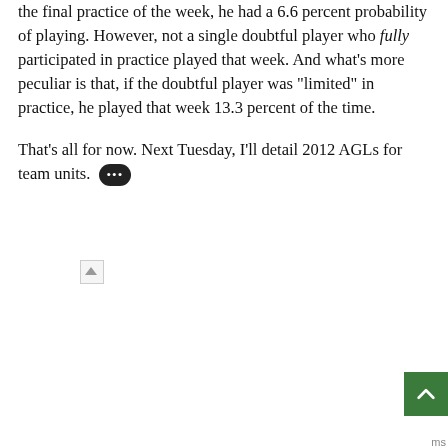the final practice of the week, he had a 6.6 percent probability of playing. However, not a single doubtful player who fully participated in practice played that week. And what's more peculiar is that, if the doubtful player was "limited" in practice, he played that week 13.3 percent of the time.
That's all for now. Next Tuesday, I'll detail 2012 AGLs for team units.
[Figure (other): Broken/missing image placeholder icon]
[Figure (other): Green scroll-to-top button with upward chevron arrow]